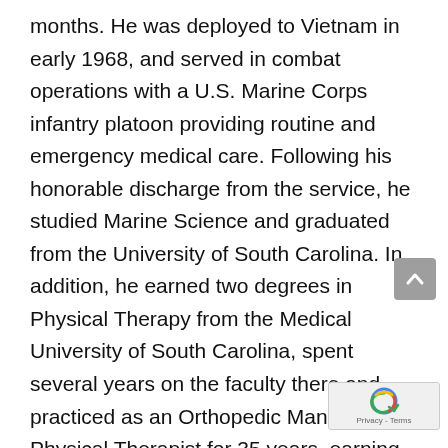months. He was deployed to Vietnam in early 1968, and served in combat operations with a U.S. Marine Corps infantry platoon providing routine and emergency medical care. Following his honorable discharge from the service, he studied Marine Science and graduated from the University of South Carolina. In addition, he earned two degrees in Physical Therapy from the Medical University of South Carolina, spent several years on the faculty there and practiced as an Orthopedic Manual Physical Therapist for 35 years, earning Board Certification and Fellowship status. He returned to live in Charleston for the fifth time in 2012 with his wife Karen. They bot